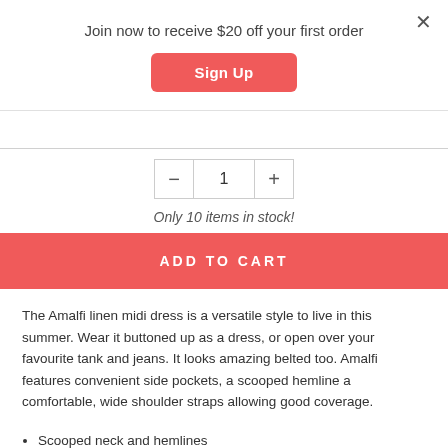Join now to receive $20 off your first order
Sign Up
1
Only 10 items in stock!
ADD TO CART
The Amalfi linen midi dress is a versatile style to live in this summer. Wear it buttoned up as a dress, or open over your favourite tank and jeans. It looks amazing belted too. Amalfi features convenient side pockets, a scooped hemline a comfortable, wide shoulder straps allowing good coverage.
Scooped neck and hemlines
Functional, generous side pockets
Buttons all the way down with Mother of Pearl buttons
Made from a mid-weight fabric, making it breezily